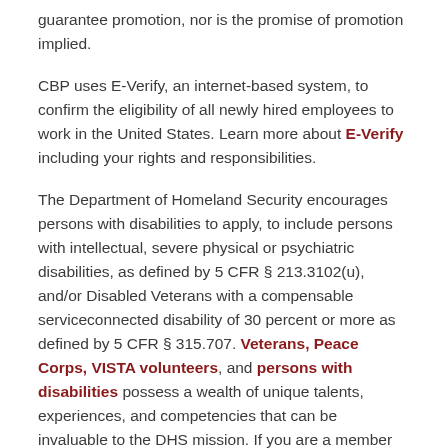guarantee promotion, nor is the promise of promotion implied.
CBP uses E-Verify, an internet-based system, to confirm the eligibility of all newly hired employees to work in the United States. Learn more about E-Verify including your rights and responsibilities.
The Department of Homeland Security encourages persons with disabilities to apply, to include persons with intellectual, severe physical or psychiatric disabilities, as defined by 5 CFR § 213.3102(u), and/or Disabled Veterans with a compensable serviceconnected disability of 30 percent or more as defined by 5 CFR § 315.707. Veterans, Peace Corps, VISTA volunteers, and persons with disabilities possess a wealth of unique talents, experiences, and competencies that can be invaluable to the DHS mission. If you are a member